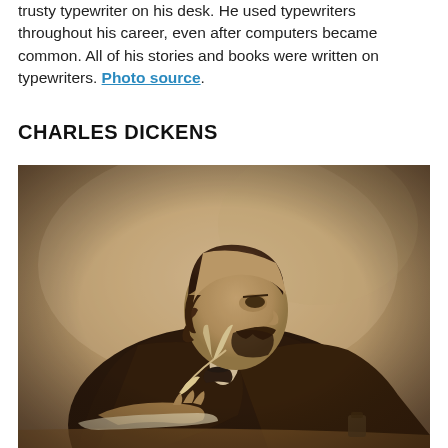trusty typewriter on his desk. He used typewriters throughout his career, even after computers became common. All of his stories and books were written on typewriters. Photo source.
CHARLES DICKENS
[Figure (photo): Sepia-toned historical photograph of Charles Dickens seated at a desk, writing with a quill pen, shown in profile facing left, wearing a dark jacket.]